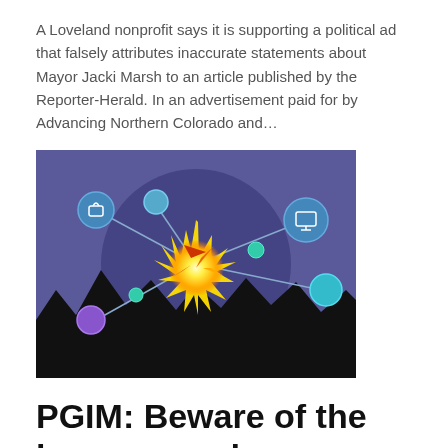A Loveland nonprofit says it is supporting a political ad that falsely attributes inaccurate statements about Mayor Jacki Marsh to an article published by the Reporter-Herald. In an advertisement paid for by Advancing Northern Colorado and…
[Figure (illustration): Colorful digital illustration showing a glowing explosion/burst in the center surrounded by connected network nodes with icons (lock, monitor, etc.) on a dark blue/purple background with jagged black mountain silhouettes.]
PGIM: Beware of the hype around blockchain and autonomous vehicles
James J. Moya  •  Oct 14, 2021
For futurists, blockchain and autonomous vehicles are sure to